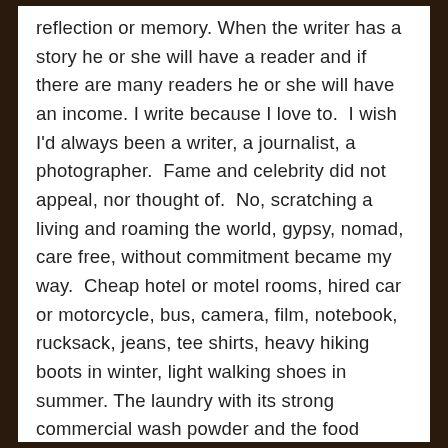reflection or memory. When the writer has a story he or she will have a reader and if there are many readers he or she will have an income. I write because I love to.  I wish I'd always been a writer, a journalist, a photographer.  Fame and celebrity did not appeal, nor thought of.  No, scratching a living and roaming the world, gypsy, nomad, care free, without commitment became my way.  Cheap hotel or motel rooms, hired car or motorcycle, bus, camera, film, notebook, rucksack, jeans, tee shirts, heavy hiking boots in winter, light walking shoes in summer. The laundry with its strong commercial wash powder and the food market, small baker and occasional bar my comforts.  Writing, photographing and living in a way I would eventually call 'The Personal Statement' evolved, there was no set plan